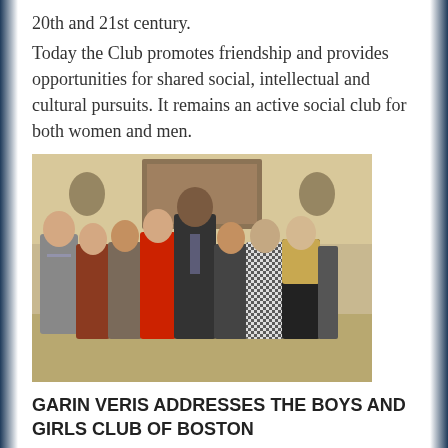20th and 21st century.

Today the Club promotes friendship and provides opportunities for shared social, intellectual and cultural pursuits. It remains an active social club for both women and men.
[Figure (photo): Group photo of eight people posing together indoors in a formal setting with a painting and decorative elements in the background. The group includes men and women, one person wearing a red coat.]
GARIN VERIS ADDRESSES THE BOYS AND GIRLS CLUB OF BOSTON
In February, Patriots alum Garin Veris addressed an audience of over 200 Boys and